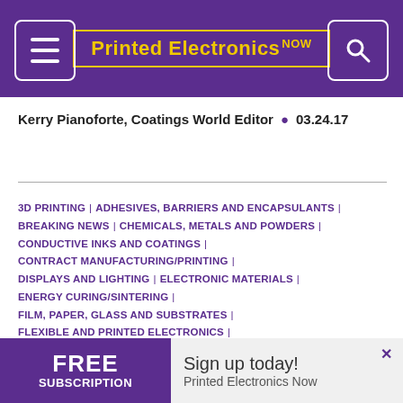Printed Electronics NOW
Kerry Pianoforte, Coatings World Editor • 03.24.17
3D PRINTING | ADHESIVES, BARRIERS AND ENCAPSULANTS | BREAKING NEWS | CHEMICALS, METALS AND POWDERS | CONDUCTIVE INKS AND COATINGS | CONTRACT MANUFACTURING/PRINTING | DISPLAYS AND LIGHTING | ELECTRONIC MATERIALS | ENERGY CURING/SINTERING | FILM, PAPER, GLASS AND SUBSTRATES | FLEXIBLE AND PRINTED ELECTRONICS | GRAPHENE, PEROVSKITES AND CARBON NANOTUBES | LAB AND TESTING | MANUFACTURERS NEWS | MANUFACTURING | NANOMATERIALS | PHOTOVOLTAICS |
[Figure (infographic): Advertisement banner: FREE SUBSCRIPTION – Sign up today! Printed Electronics Now]